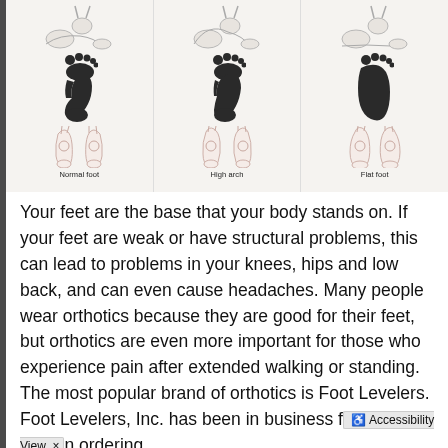[Figure (illustration): Three-column medical illustration comparing foot types: Normal foot, High arch, and Flat foot. Each column shows a skeletal side view of ankle/foot, a footprint silhouette, and a rear view of the feet/ankles. Labels at bottom read: Normal foot, High arch, Flat foot.]
Your feet are the base that your body stands on. If your feet are weak or have structural problems, this can lead to problems in your knees, hips and low back, and can even cause headaches. Many people wear orthotics because they are good for their feet, but orthotics are even more important for those who experience pain after extended walking or standing. The most popular brand of orthotics is Foot Levelers. Foot Levelers, Inc. has been in business for over 50 years. When ordering